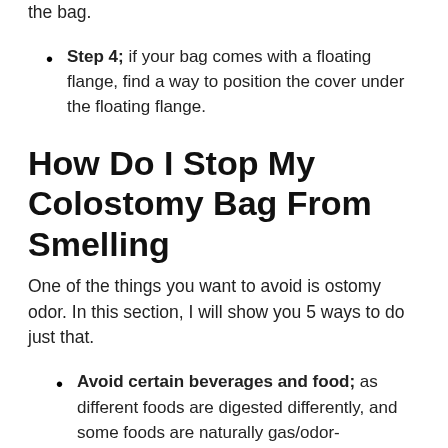the bag.
Step 4; if your bag comes with a floating flange, find a way to position the cover under the floating flange.
How Do I Stop My Colostomy Bag From Smelling
One of the things you want to avoid is ostomy odor. In this section, I will show you 5 ways to do just that.
Avoid certain beverages and food; as different foods are digested differently, and some foods are naturally gas/odor-